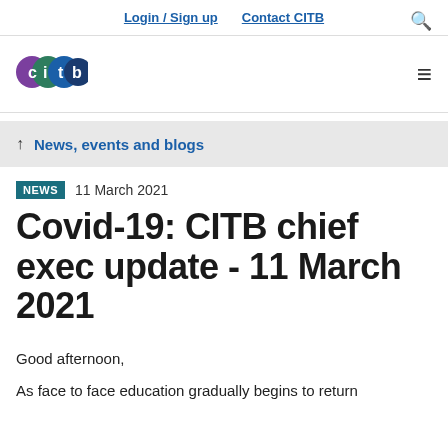Login / Sign up   Contact CITB
[Figure (logo): CITB logo with coloured circles spelling 'citb']
↑ News, events and blogs
NEWS  11 March 2021
Covid-19: CITB chief exec update - 11 March 2021
Good afternoon,
As face to face education gradually begins to return